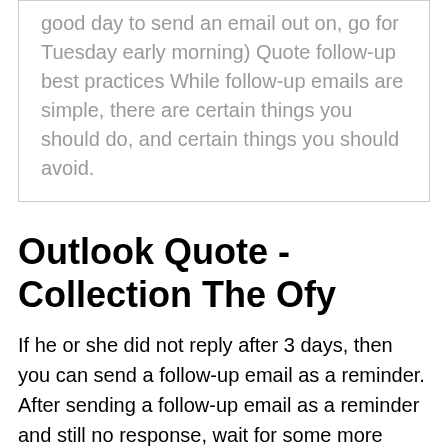good day to send an email out on, go for Tuesday early morning) Quote follow-up best practices While follow-up emails are simple, there are certain things you should do, and certain things you should avoid.
Outlook Quote - Collection The Ofy
If he or she did not reply after 3 days, then you can send a follow-up email as a reminder. After sending a follow-up email as a reminder and still no response, wait for some more days before sending another follow-up email. Thank you for giving us the